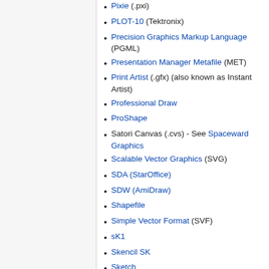Pixie (.pxi)
PLOT-10 (Tektronix)
Precision Graphics Markup Language (PGML)
Presentation Manager Metafile (MET)
Print Artist (.gfx) (also known as Instant Artist)
Professional Draw
ProShape
Satori Canvas (.cvs) - See Spaceward Graphics
Scalable Vector Graphics (SVG)
SDA (StarOffice)
SDW (AmiDraw)
Shapefile
Simple Vector Format (SVF)
sK1
Skencil SK
Sketch
SXD
Sxz (hybrid vector/raster)
TIFF annotation data